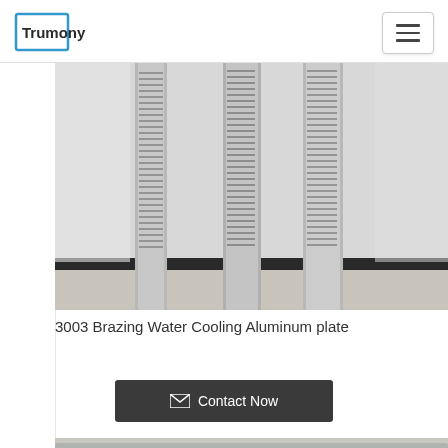Trumony
[Figure (photo): Photo of 3003 Brazing Water Cooling Aluminum plate — tall thin finned aluminum extrusion profiles standing upright against a wall]
3003 Brazing Water Cooling Aluminum plate
Contact Now
[Figure (photo): Photo of aluminum water cooling plate components with circular holes and fittings]